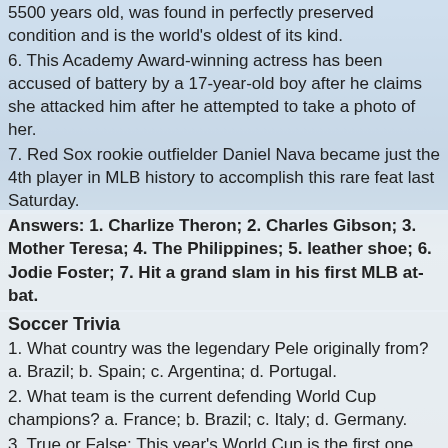5500 years old, was found in perfectly preserved condition and is the world's oldest of its kind.
6. This Academy Award-winning actress has been accused of battery by a 17-year-old boy after he claims she attacked him after he attempted to take a photo of her.
7. Red Sox rookie outfielder Daniel Nava became just the 4th player in MLB history to accomplish this rare feat last Saturday.
Answers: 1. Charlize Theron; 2. Charles Gibson; 3. Mother Teresa; 4. The Philippines; 5. leather shoe; 6. Jodie Foster; 7. Hit a grand slam in his first MLB at-bat.
Soccer Trivia
1. What country was the legendary Pele originally from? a. Brazil; b. Spain; c. Argentina; d. Portugal.
2. What team is the current defending World Cup champions? a. France; b. Brazil; c. Italy; d. Germany.
3. True or False: This year's World Cup is the first one ever played on African soil.
4. What year were the World Cup Finals held in the United States? a. 1986; b. 1990; c. 1994; d. 1998